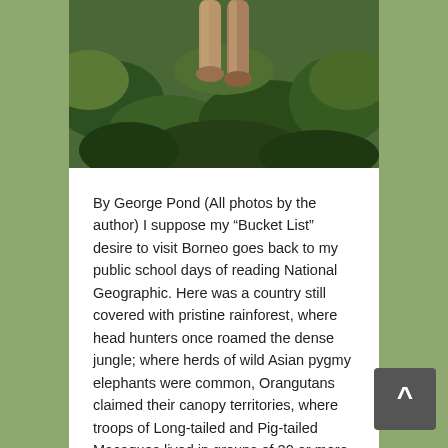[Figure (photo): Partial photo of what appears to be a monkey or primate among green foliage/leaves in a rainforest setting. Only the lower body/legs of the animal are visible at the top of the image.]
By George Pond (All photos by the author) I suppose my “Bucket List” desire to visit Borneo goes back to my public school days of reading National Geographic. Here was a country still covered with pristine rainforest, where head hunters once roamed the dense jungle; where herds of wild Asian pygmy elephants were common, Orangutans claimed their canopy territories, where troops of Long-tailed and Pig-tailed Macaques lived in groups of 20 or more animals, and strange looking Proboscis monkeys, with their funny noses lived in trees along the river valleys. Here eight species of Hornbills, birds with massive bills, would fly overhead or sit on